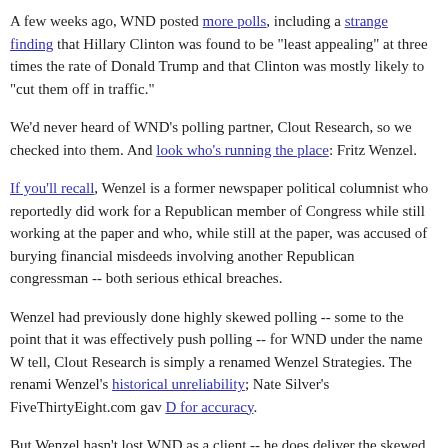A few weeks ago, WND posted more polls, including a strange finding that Hillary Clinton was found to be "least appealing" at three times the rate of Donald Trump and that Clinton was mostly likely to "cut them off in traffic."
We'd never heard of WND's polling partner, Clout Research, so we checked into them. And look who's running the place: Fritz Wenzel.
If you'll recall, Wenzel is a former newspaper political columnist who reportedly did work for a Republican member of Congress while still working at the paper and who, while still at the paper, was accused of burying financial misdeeds involving another Republican congressman -- both serious ethical breaches.
Wenzel had previously done highly skewed polling -- some to the point that it was effectively push polling -- for WND under the name We tell, Clout Research is simply a renamed Wenzel Strategies. The renamin Wenzel's historical unreliability; Nate Silver's FiveThirtyEight.com gav D for accuracy.
But Wenzel hasn't lost WND as a client -- he does deliver the skewed re